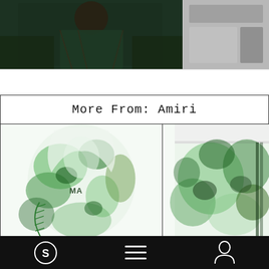[Figure (photo): Top left: photo of a person wearing patterned jacket in dark background]
[Figure (photo): Top right: small gray/neutral photo thumbnail]
More From: Amiri
[Figure (photo): Tie-dye green and white hoodie with Amiri logo, product photo]
[Figure (photo): Tie-dye green and white shorts, product photo, cropped]
Navigation bar with S icon, menu icon, and profile icon